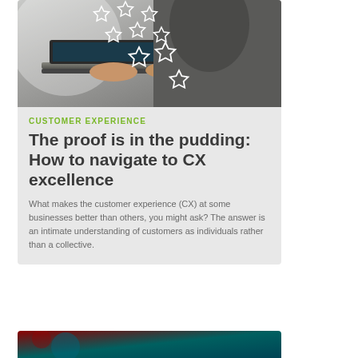[Figure (photo): Person typing on a laptop keyboard with overlaid white star rating icons arranged in a diagonal pattern, suggesting customer reviews or ratings.]
CUSTOMER EXPERIENCE
The proof is in the pudding: How to navigate to CX excellence
What makes the customer experience (CX) at some businesses better than others, you might ask? The answer is an intimate understanding of customers as individuals rather than a collective.
[Figure (photo): Partial view of a second article card with a dark teal/red background, barely visible at the bottom of the page.]